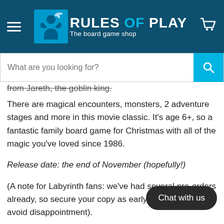[Figure (logo): Rules of Play - The board game shop logo with teal background, hamburger menu icon on left, shopping cart on right]
[Figure (screenshot): Search bar with placeholder 'What are you looking for?' and teal search button]
from Jareth, the goblin king.
There are magical encounters, monsters, 2 adventure stages and more in this movie classic. It's age 6+, so a fantastic family board game for Christmas with all of the magic you've loved since 1986.
Release date: the end of November (hopefully!)
(A note for Labyrinth fans: we've had several pre-orders already, so secure your copy as early as possible to avoid disappointment).
Pre-order the game